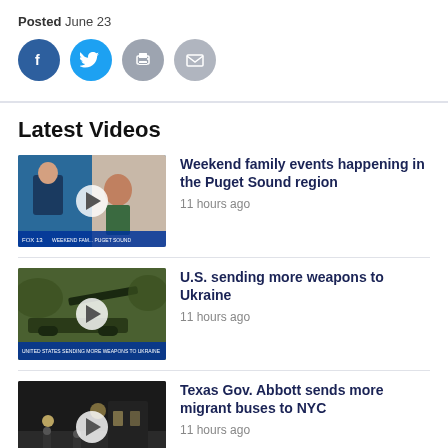Posted June 23
[Figure (other): Social media share icons: Facebook, Twitter, Print, Email]
Latest Videos
[Figure (photo): Video thumbnail: news anchor and woman in split screen, FOX 13 lower third]
Weekend family events happening in the Puget Sound region
11 hours ago
[Figure (photo): Video thumbnail: military artillery weapon in field, 'United States Sending More Weapons to Ukraine' lower third]
U.S. sending more weapons to Ukraine
11 hours ago
[Figure (photo): Video thumbnail: dark street scene with people and lights]
Texas Gov. Abbott sends more migrant buses to NYC
11 hours ago